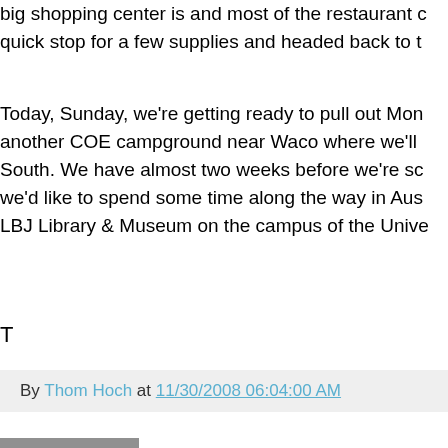big shopping center is and most of the restaurant c quick stop for a few supplies and headed back to t
Today, Sunday, we're getting ready to pull out Mon another COE campground near Waco where we'll South. We have almost two weeks before we're sc we'd like to spend some time along the way in Aus LBJ Library & Museum on the campus of the Unive
T
By Thom Hoch at 11/30/2008 06:04:00 AM
Nov 28, 2008
A Rainy Spell in Texarkana
written Friday, November 28, 2008
Texarkana, TX